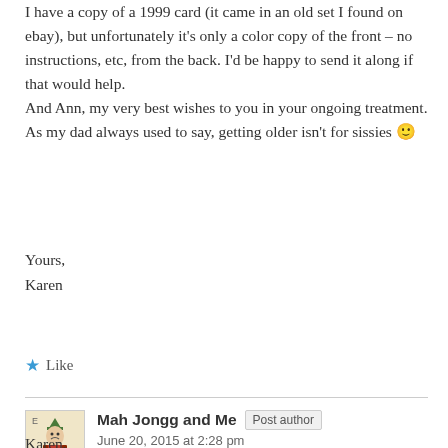I have a copy of a 1999 card (it came in an old set I found on ebay), but unfortunately it's only a color copy of the front – no instructions, etc, from the back. I'd be happy to send it along if that would help.
And Ann, my very best wishes to you in your ongoing treatment. As my dad always used to say, getting older isn't for sissies 🙂
Yours,
Karen
★ Like
Mah Jongg and Me  Post author
June 20, 2015 at 2:28 pm
Karen,